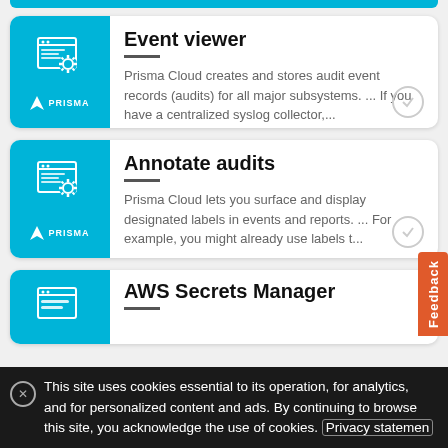[Figure (screenshot): Prisma Cloud Event viewer card with cyan icon panel showing a browser window with gear icon and Prisma logo, title 'Event viewer', description about audit event records]
Event viewer
Prisma Cloud creates and stores audit event records (audits) for all major subsystems. ... If you have a centralized syslog collector,...
[Figure (screenshot): Prisma Cloud Annotate audits card with cyan icon panel, title 'Annotate audits', description about surface and display designated labels]
Annotate audits
Prisma Cloud lets you surface and display designated labels in events and reports. ... For example, you might already use labels t...
[Figure (screenshot): Prisma Cloud AWS Secrets Manager card with cyan icon panel, title 'AWS Secrets Manager', partially visible]
AWS Secrets Manager
This site uses cookies essential to its operation, for analytics, and for personalized content and ads. By continuing to browse this site, you acknowledge the use of cookies. Privacy statemen